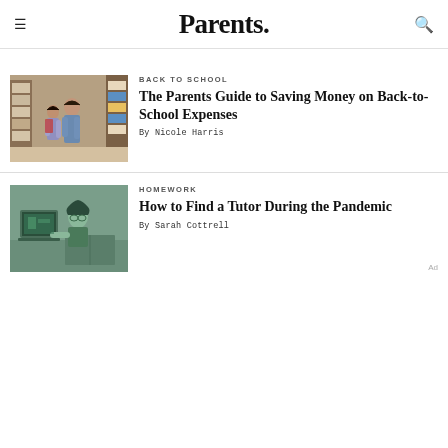Parents.
BACK TO SCHOOL
[Figure (photo): Mother and child shopping in a store aisle with school supplies]
The Parents Guide to Saving Money on Back-to-School Expenses
By Nicole Harris
HOMEWORK
[Figure (photo): Child studying with a laptop and books, green-tinted monochrome photo]
How to Find a Tutor During the Pandemic
By Sarah Cottrell